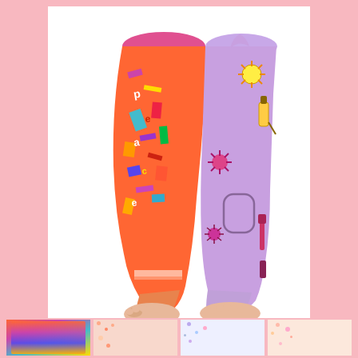[Figure (photo): Main product photo showing two legs wearing different printed leggings — left leg has a colorful, busy art/makeup collage print with red, orange, and multicolor design; right leg has a lavender/purple background with retro atomic-style nail polish and makeup illustrations. Both legs are bare feet on white background.]
[Figure (photo): Four thumbnail images of leggings variants in a horizontal row: 1) colorful multicolor collage print, 2) light peachy-pink scattered print, 3) light pastel scattered print, 4) light peach/pastel print — all showing child-sized leggings.]